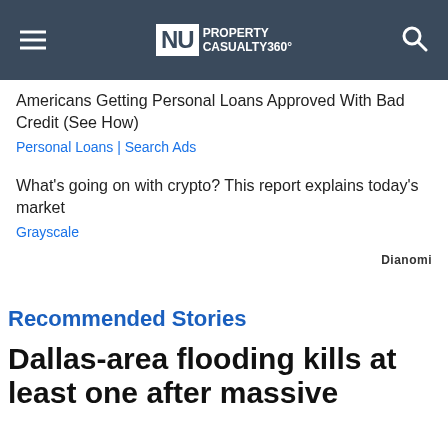NU PROPERTY CASUALTY360°
Americans Getting Personal Loans Approved With Bad Credit (See How)
Personal Loans | Search Ads
What's going on with crypto? This report explains today's market
Grayscale
Dianomi
Recommended Stories
Dallas-area flooding kills at least one after massive